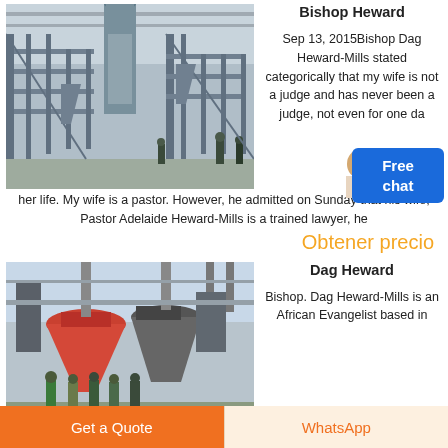[Figure (photo): Industrial factory interior with metal staircases, large cylindrical dust collector/ventilation equipment, steel structure, and workers on floor]
Bishop Heward
Sep 13, 2015Bishop Dag Heward-Mills stated categorically that my wife is not a judge and has never been a judge, not even for one day of her life. My wife is a pastor. However, he admitted on Sunday that his wife, Pastor Adelaide Heward-Mills is a trained lawyer, he
Obtener precio
[Figure (photo): Industrial milling machines with large cone-shaped grinders, orange/red components, and group of workers/engineers standing in front]
Dag Heward
Bishop. Dag Heward-Mills is an African Evangelist based in
Get a Quote
WhatsApp